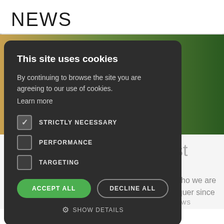NEWS
[Figure (screenshot): Cookie consent modal overlay on a news website. Modal has dark background with title 'This site uses cookies', body text about agreeing to use of cookies, checkboxes for STRICTLY NECESSARY (checked), PERFORMANCE (unchecked), TARGETING (unchecked), buttons ACCEPT ALL (green) and DECLINE ALL (outlined), and a SHOW DETAILS link with gear icon. Behind the modal is a partial outdoor photo and partially visible article text.]
This small charity was set up in 2017 and are